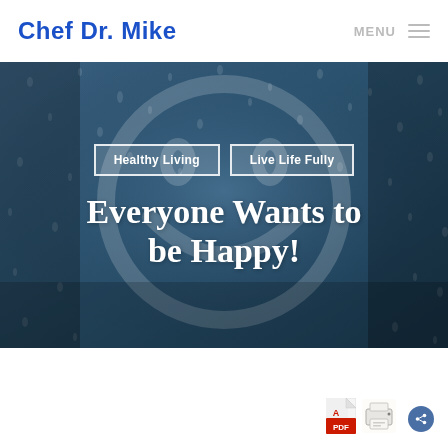Chef Dr. Mike | MENU
[Figure (photo): Hero banner with a blurred blue rainy glass background showing a smiley face outline. Contains two navigation buttons 'Healthy Living' and 'Live Life Fully', and a large white serif headline 'Everyone Wants to be Happy!']
[Figure (other): PDF icon and printer icon at the bottom right of the page, with a circular share button]